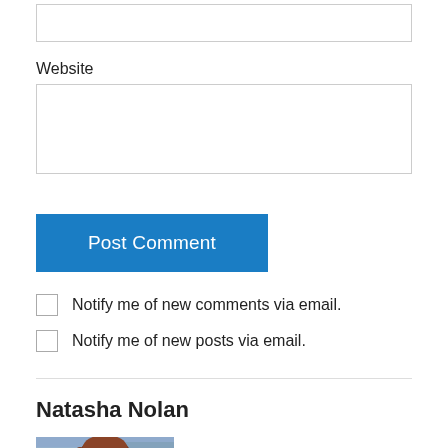Website
Post Comment
Notify me of new comments via email.
Notify me of new posts via email.
Natasha Nolan
[Figure (photo): Portrait photo of Natasha Nolan, a woman with long auburn/brown hair, smiling, outdoors with blurred urban background, wearing dark clothing]